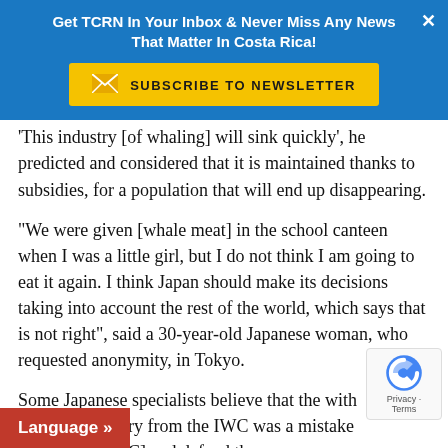Get TCRN In Your Inbox & Never Miss Any News That Matter In Costa Rica!
[Figure (other): Subscribe to Newsletter button with envelope icon on yellow background]
This industry [of whaling] will sink quickly', he predicted and considered that it is maintained thanks to subsidies, for a population that will end up disappearing.
"We were given [whale meat] in the school canteen when I was a little girl, but I do not think I am going to eat it again. I think Japan should make its decisions taking into account the rest of the world, which says that is not right", said a 30-year-old Japanese woman, who requested anonymity, in Tokyo.
Some Japanese specialists believe that the withdrawal of the Asian country from the IWC was a mistake, and that it was better to remain [to the IWC] and defend the